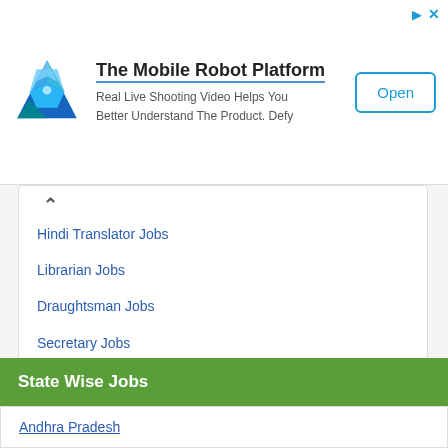[Figure (screenshot): Ad banner for The Mobile Robot Platform with a blue geometric logo, bold title, description text, and an Open button]
Hindi Translator Jobs
Librarian Jobs
Draughtsman Jobs
Secretary Jobs
Police Jobs
Supervisor Jobs
Management Trainee Jobs
Nurse Jobs
State Wise Jobs
Andhra Pradesh